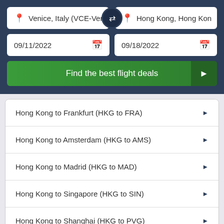[Figure (screenshot): Flight search UI with origin Venice Italy (VCE-Venice) and destination Hong Kong, date fields 09/11/2022 and 09/18/2022, and a Find the best flight deals button]
Hong Kong to Frankfurt (HKG to FRA)
Hong Kong to Amsterdam (HKG to AMS)
Hong Kong to Madrid (HKG to MAD)
Hong Kong to Singapore (HKG to SIN)
Hong Kong to Shanghai (HKG to PVG)